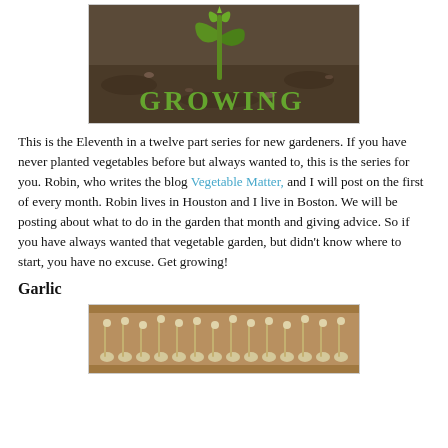[Figure (photo): Close-up photo of a plant seedling sprouting from dark soil with the word GROWING overlaid in green text]
This is the Eleventh in a twelve part series for new gardeners. If you have never planted vegetables before but always wanted to, this is the series for you. Robin, who writes the blog Vegetable Matter, and I will post on the first of every month. Robin lives in Houston and I live in Boston. We will be posting about what to do in the garden that month and giving advice. So if you have always wanted that vegetable garden, but didn't know where to start, you have no excuse. Get growing!
Garlic
[Figure (photo): Photo of rows of garlic bulbs with sprouts in a wooden tray]